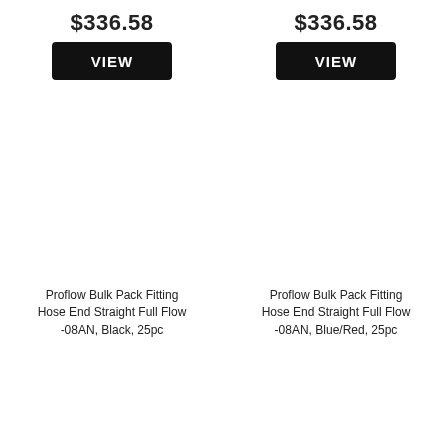$336.58
$336.58
VIEW
VIEW
[Figure (photo): 25 black AN hose end fittings arranged in a grid pattern]
[Figure (photo): 25 blue and red AN hose end fittings arranged in a grid pattern]
Proflow Bulk Pack Fitting Hose End Straight Full Flow -08AN, Black, 25pc
Proflow Bulk Pack Fitting Hose End Straight Full Flow -08AN, Blue/Red, 25pc